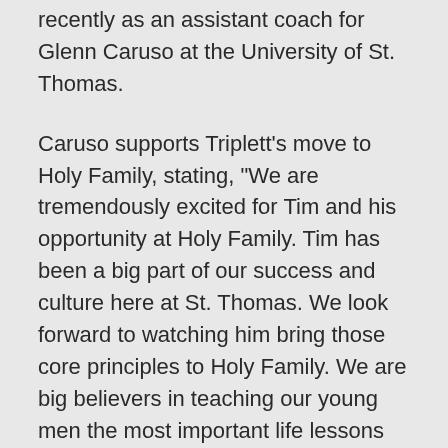recently as an assistant coach for Glenn Caruso at the University of St. Thomas.
Caruso supports Triplett's move to Holy Family, stating, “We are tremendously excited for Tim and his opportunity at Holy Family. Tim has been a big part of our success and culture here at St. Thomas. We look forward to watching him bring those core principles to Holy Family. We are big believers in teaching our young men the most important life lessons through the sport of football; Tim takes that responsibility very seriously, and I think that the future of Holy Family Catholic will benefit from his vision.”
Triplett leaves his current position as the recruiting coordinator and wide receiver coach at UST to lead the Fire Football program and make the transition to working with high school student-athletes. “The high